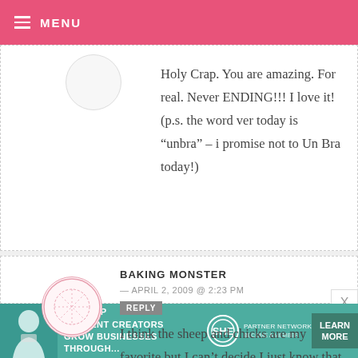MENU
Holy Crap. You are amazing. For real. Never ENDING!!! I love it! (p.s. the word ver today is “unbra” – i promise not to Un Bra today!)
BAKING MONSTER — APRIL 2, 2009 @ 2:23 PM
I think the sheep and chicks are my favorite but I can’t decide I just know that your amazing.
[Figure (infographic): SHE Partner Network advertisement banner with woman photo, text 'WE HELP CONTENT CREATORS GROW BUSINESSES THROUGH...' and LEARN MORE button]